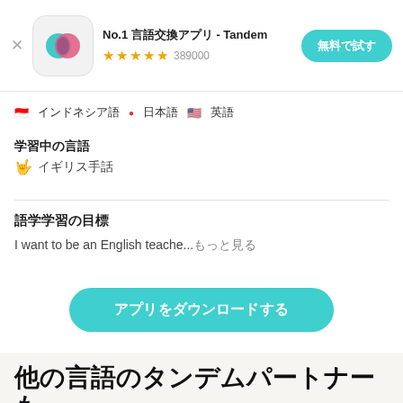[Figure (screenshot): App store ad banner for Tandem language exchange app with icon, star rating, and trial button]
No.1 言語交換アプリ - Tandem
★★★★☆ 389000
無料で試す
🇮🇩 インドネシア語　● 日本語　🇺🇸 英語
学習中の言語
🤟 イギリス手話
語学学習の目標
I want to be an English teache...もっと見る
アプリをダウンロードする
他の言語のタンデムパートナーも